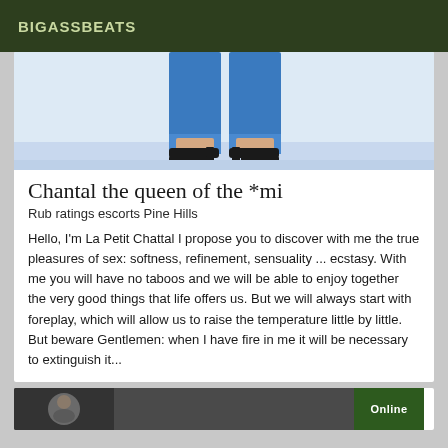BIGASSBEATS
[Figure (photo): Cropped photo showing legs of a person wearing blue jeans and black high-heel shoes]
Chantal the queen of the *mi
Rub ratings escorts Pine Hills
Hello, I'm La Petit Chattal I propose you to discover with me the true pleasures of sex: softness, refinement, sensuality ... ecstasy. With me you will have no taboos and we will be able to enjoy together the very good things that life offers us. But we will always start with foreplay, which will allow us to raise the temperature little by little. But beware Gentlemen: when I have fire in me it will be necessary to extinguish it...
[Figure (photo): Partial photo thumbnail at bottom with an Online badge]